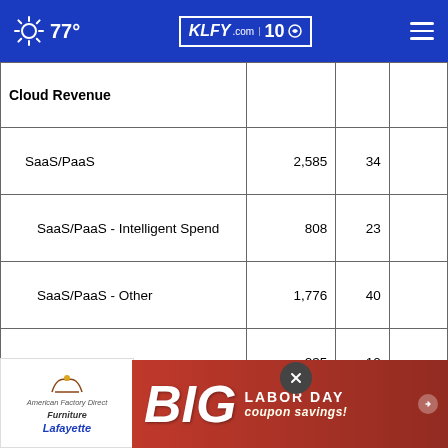77° KLFY.com 10
|  |  |  |  |
| --- | --- | --- | --- |
| Cloud Revenue |  |  |  |
| SaaS/PaaS | 2,585 | 34 |  |
| SaaS/PaaS - Intelligent Spend | 808 | 23 |  |
| SaaS/PaaS - Other | 1,776 | 40 |  |
| IaaS | 235 | 10 |  |
| Total | 2,820 | 31 |  |
| the... |  | 78 |  |
[Figure (advertisement): American Factory Direct Furniture Lafayette - BIG LABOR DAY coupon savings advertisement overlay]